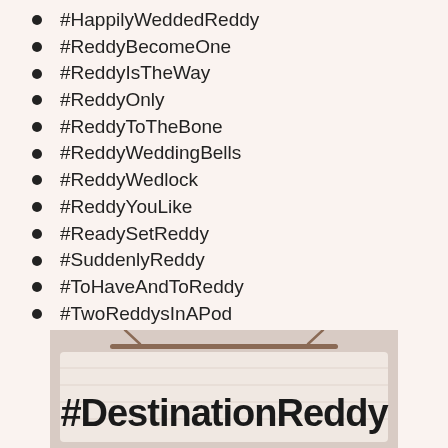#HappilyWeddedReddy
#ReddyBecomeOne
#ReddyIsTheWay
#ReddyOnly
#ReddyToTheBone
#ReddyWeddingBells
#ReddyWedlock
#ReddyYouLike
#ReadySetReddy
#SuddenlyReddy
#ToHaveAndToReddy
#TwoReddysInAPod
[Figure (photo): Photo of a wooden sign or banner with bold text reading #DestinationReddy]